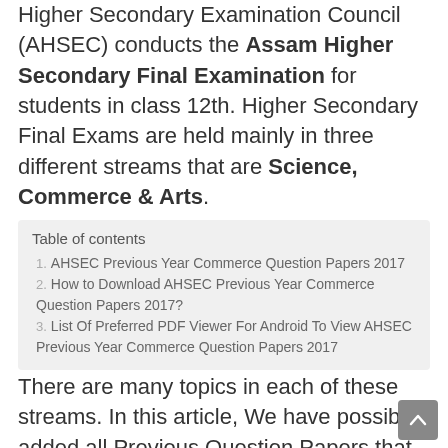Higher Secondary Examination Council (AHSEC) conducts the Assam Higher Secondary Final Examination for students in class 12th. Higher Secondary Final Exams are held mainly in three different streams that are Science, Commerce & Arts.
Table of contents
1. AHSEC Previous Year Commerce Question Papers 2017
2. How to Download AHSEC Previous Year Commerce Question Papers 2017?
3. List Of Preferred PDF Viewer For Android To View AHSEC Previous Year Commerce Question Papers 2017
There are many topics in each of these streams. In this article, We have possibly added all Previous Question Papers that we could possibly get our